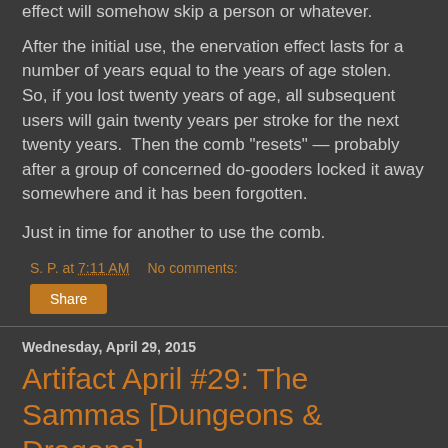effect will somehow skip a person or whatever.
After the initial use, the enervation effect lasts for a number of years equal to the years of age stolen.  So, if you lost twenty years of age, all subsequent users will gain twenty years per stroke for the next twenty years.  Then the comb "resets" — probably after a group of concerned do-gooders locked it away somewhere and it has been forgotten.
Just in time for another to use the comb.
S. P. at 7:11 AM    No comments:
Share
Wednesday, April 29, 2015
Artifact April #29: The Sammas [Dungeons & Dragons]
[Dungeons & Dragons]